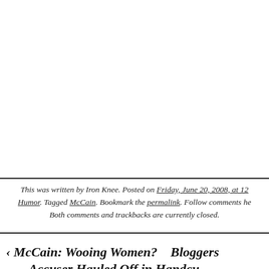[Figure (screenshot): Share/Save social media button bar with Facebook, Twitter, and share icons]
This was written by Iron Knee. Posted on Friday, June 20, 2008, at 12... Humor. Tagged McCain. Bookmark the permalink. Follow comments he... Both comments and trackbacks are currently closed.
‹ McCain: Wooing Women?    Bloggers... Accuser Hauled Off in Handcu...